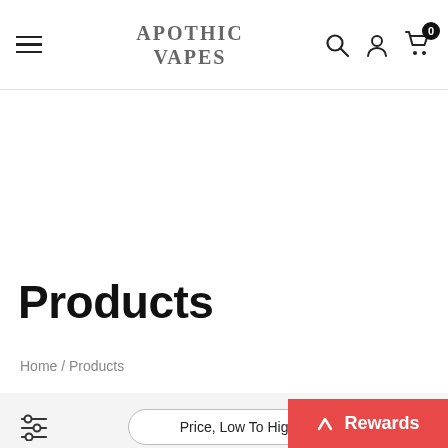APOTHIC VAPES
Products
Home / Products
Price, Low To High
Rewards